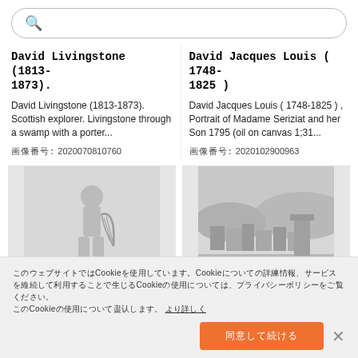[Figure (screenshot): Search bar with magnifying glass icon and placeholder text (Japanese characters)]
David Livingstone (1813-1873).
David Livingstone (1813-1873). Scottish explorer. Livingstone through a swamp with a porter...
画像番号: 2020070810760
David Jacques Louis ( 1748-1825 )
David Jacques Louis ( 1748-1825 ) , Portrait of Madame Seriziat and her Son 1795 (oil on canvas 1;31...
画像番号: 2020102900963
[Figure (photo): Black and white photo of a marble statue of a female figure with a harp]
[Figure (photo): Black and white landscape photo showing ruins/buildings on a hillside]
このウェブサイトではCookieを使用しています。Cookieについての詳細情報、サービスを継続して利用することで生じるCookieの使用については、プライバシーポリシーをご覧ください。
同意して続ける